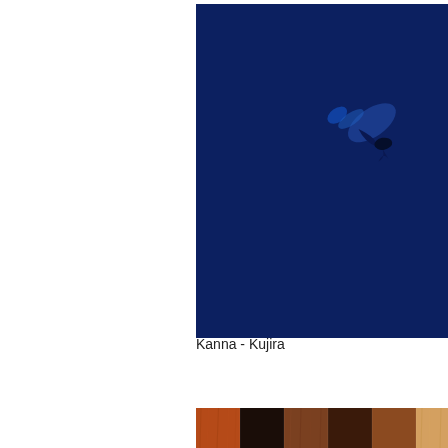[Figure (photo): A dark deep navy blue photograph showing a small whale (humpback whale sculpture or artwork) centered against the dark blue background, appearing to be diving or swimming]
Kanna - Kujira
[Figure (photo): A row of wood veneer color swatches showing various wood types and finishes, ranging from orange-brown, dark brown/black, medium brown, dark walnut, warm brown, light tan/blonde, cream/white, and dark reddish-brown]